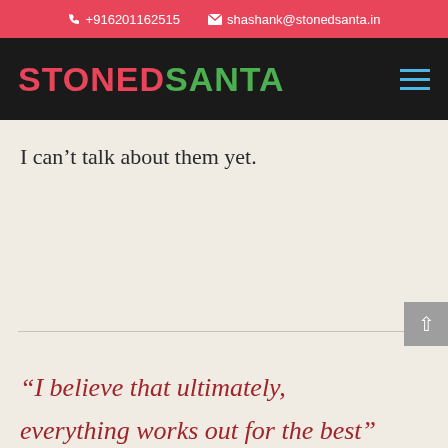+916201162515   shashank@stonedsanta.in
[Figure (logo): STONED SANTA logo in red and green bold text on black navigation bar with hamburger menu icon]
I can’t talk about them yet.
“I believe that ultimately, everything works out for the best”